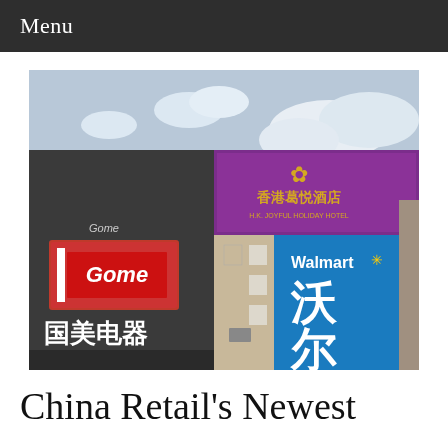Menu
[Figure (photo): Street-level photo of commercial buildings in China showing signage for GOME Electronics (国美电器) in black with red logo, H.K. Joyful Holiday Hotel (香港葛悦酒店) with purple/gold signage, and a large Walmart (沃尔玛) blue sign with Chinese characters 沃尔 visible, against a partly cloudy sky.]
China Retail's Newest